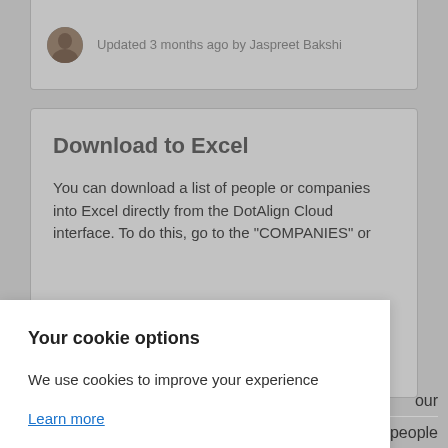Updated 3 months ago by Jaspreet Bakshi
Download to Excel
You can download a list of people or companies into Excel directly from the DotAlign Cloud interface. To do this, go to the "COMPANIES" or
Your cookie options
We use cookies to improve your experience
Learn more
Dismiss
our choosing. Along with that you can see the people